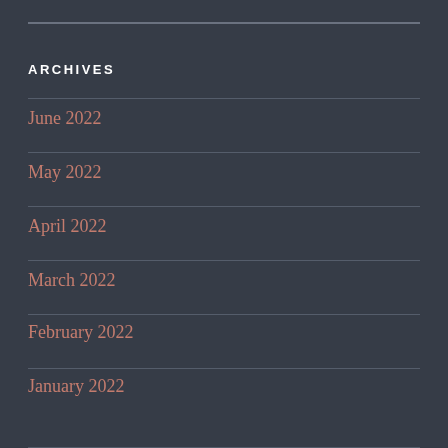ARCHIVES
June 2022
May 2022
April 2022
March 2022
February 2022
January 2022
December 2021
November 2021